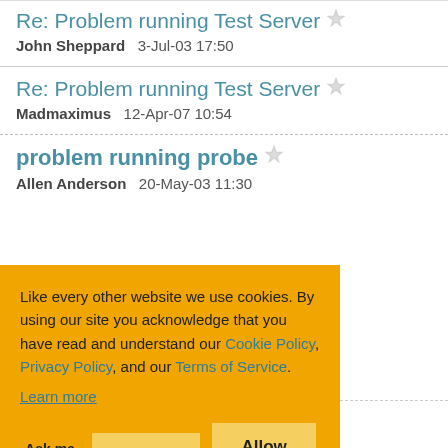Re: Problem running Test Server
John Sheppard   3-Jul-03 17:50
Re: Problem running Test Server
Madmaximus   12-Apr-07 10:54
problem running probe
Allen Anderson   20-May-03 11:30
Like every other website we use cookies. By using our site you acknowledge that you have read and understand our Cookie Policy, Privacy Policy, and our Terms of Service.
Learn more
Ask me later   Decline   Allow cookies
Outstanding!